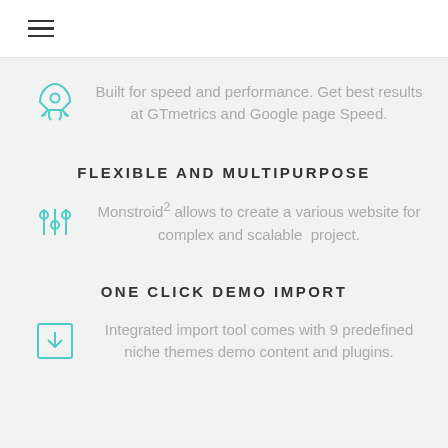☰
[Figure (illustration): Teal rocket ship icon]
Built for speed and performance. Get best results at GTmetrics and Google page Speed.
FLEXIBLE AND MULTIPURPOSE
[Figure (illustration): Teal equalizer/sliders icon]
Monstroid² allows to create a various website for complex and scalable project.
ONE CLICK DEMO IMPORT
[Figure (illustration): Teal download icon in a square box]
Integrated import tool comes with 9 predefined niche themes demo content and plugins.